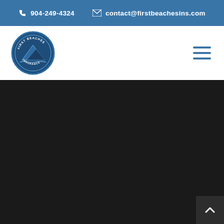904-249-4324  contact@firstbeachesins.com
[Figure (logo): First Beaches Insurance circular logo with mountain/beach design in blue tones]
[Figure (other): Hamburger menu icon with three horizontal blue lines]
[Figure (photo): Large dark/near-black section, appears to be a background image or dark overlay covering the bottom portion of the page]
[Figure (other): Scroll-to-top button with upward chevron arrow in dark gray box at bottom right]